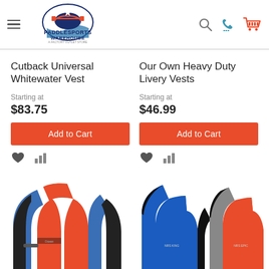[Figure (logo): PaddleSports Warehouse logo with kayaker graphic, red white and blue colors, tagline 'A Factory Outlet Store']
Cutback Universal Whitewater Vest
Starting at
$83.75
Add to Cart
Our Own Heavy Duty Livery Vests
Starting at
$46.99
Add to Cart
[Figure (photo): Two life vests side by side - blue/black and red/black whitewater vests]
[Figure (photo): Two life vests side by side - blue and red/gray livery vests]